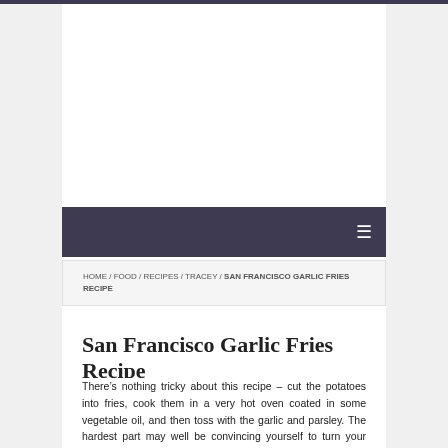HOME / FOOD / RECIPES / TRACEY / SAN FRANCISCO GARLIC FRIES RECIPE
San Francisco Garlic Fries Recipe
There’s nothing tricky about this recipe – cut the potatoes into fries, cook them in a very hot oven coated in some vegetable oil, and then toss with the garlic and parsley. The hardest part may well be convincing yourself to turn your oven to 450 F on a 90 degree day, We served these with burgers for a simple, but delicious summer meal. The fries were super crisp on the outside, but soft and fluffy inside. If you’re wondering about the raw garlic, we didn’t think it was too overwhelming. I found that very little of the garlic actually clung to the fries (maybe I didn’t mince it fine enough); instead, it perfumed the fries and gave them a garlic